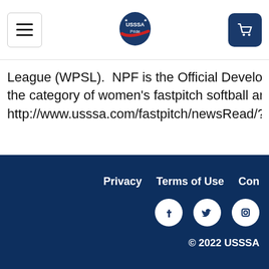USSSA Pride website header with menu button, logo, and cart button
League (WPSL).  NPF is the Official Development Partn the category of women's fastpitch softball and has bee http://www.usssa.com/fastpitch/newsRead/?ID=8969
Privacy   Terms of Use   Con  © 2022 USSSA